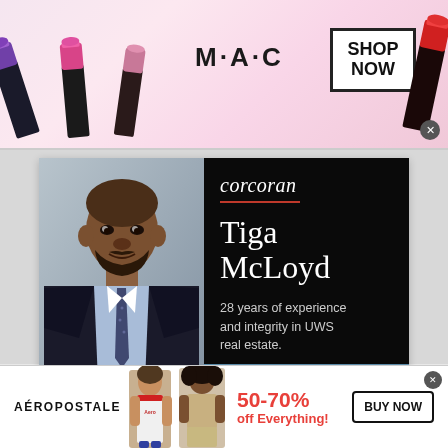[Figure (illustration): MAC Cosmetics banner advertisement showing lipsticks in purple, pink, and red colors with MAC logo and SHOP NOW button]
[Figure (photo): Corcoran real estate advertisement featuring agent Tiga McLoyd with professional headshot on left and black background with name and description on right]
corcoran
Tiga McLoyd
28 years of experience and integrity in UWS real estate.
LEARN MORE
[Figure (illustration): Aéropostale advertisement with two female models wearing Aéropostale clothing, 50-70% off Everything promotional text and BUY NOW button]